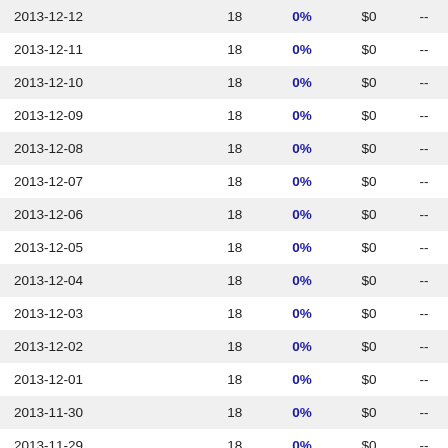| Date |  | % | $ |  |
| --- | --- | --- | --- | --- |
| 2013-12-12 | 18 | 0% | $0 | -- |
| 2013-12-11 | 18 | 0% | $0 | -- |
| 2013-12-10 | 18 | 0% | $0 | -- |
| 2013-12-09 | 18 | 0% | $0 | -- |
| 2013-12-08 | 18 | 0% | $0 | -- |
| 2013-12-07 | 18 | 0% | $0 | -- |
| 2013-12-06 | 18 | 0% | $0 | -- |
| 2013-12-05 | 18 | 0% | $0 | -- |
| 2013-12-04 | 18 | 0% | $0 | -- |
| 2013-12-03 | 18 | 0% | $0 | -- |
| 2013-12-02 | 18 | 0% | $0 | -- |
| 2013-12-01 | 18 | 0% | $0 | -- |
| 2013-11-30 | 18 | 0% | $0 | -- |
| 2013-11-29 | 18 | 0% | $0 | -- |
| 2013-11-28 | 18 | 0% | $0 | -- |
| 2013-11-27 | 18 | 0% | $0 | -- |